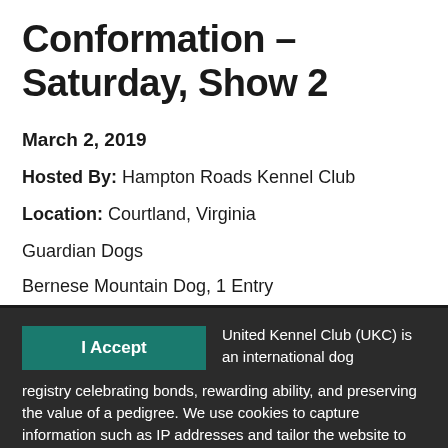Conformation – Saturday, Show 2
March 2, 2019
Hosted By: Hampton Roads Kennel Club
Location: Courtland, Virginia
Guardian Dogs
Bernese Mountain Dog, 1 Entry
United Kennel Club (UKC) is an international dog registry celebrating bonds, rewarding ability, and preserving the value of a pedigree. We use cookies to capture information such as IP addresses and tailor the website to our clients' needs. We also use this information to target and measure promotional material. Please see our Privacy Policy for more information.